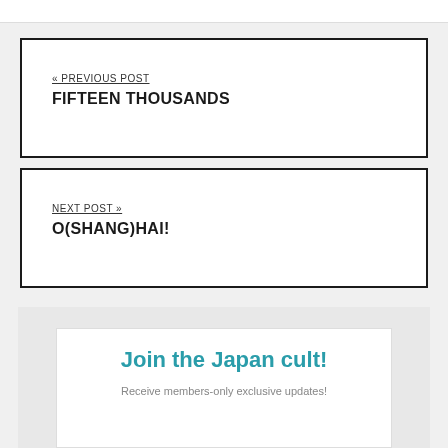« PREVIOUS POST
FIFTEEN THOUSANDS
NEXT POST »
O(SHANG)HAI!
Join the Japan cult!
Receive members-only exclusive updates!